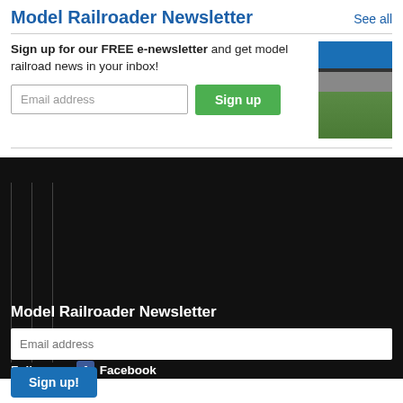Model Railroader Newsletter
See all
Sign up for our FREE e-newsletter and get model railroad news in your inbox!
[Figure (screenshot): Model Railroader magazine cover showing a blue train, bridge scene, and October issue label]
Model Railroader Newsletter
Follow us:  Facebook